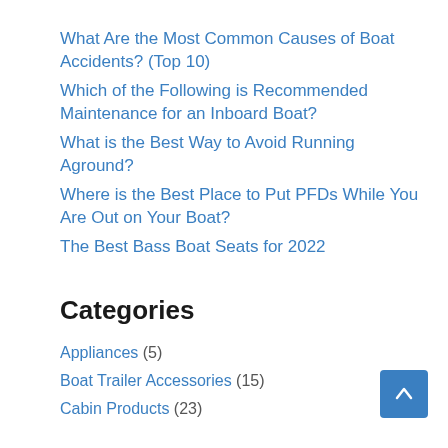What Are the Most Common Causes of Boat Accidents? (Top 10)
Which of the Following is Recommended Maintenance for an Inboard Boat?
What is the Best Way to Avoid Running Aground?
Where is the Best Place to Put PFDs While You Are Out on Your Boat?
The Best Bass Boat Seats for 2022
Categories
Appliances (5)
Boat Trailer Accessories (15)
Cabin Products (23)